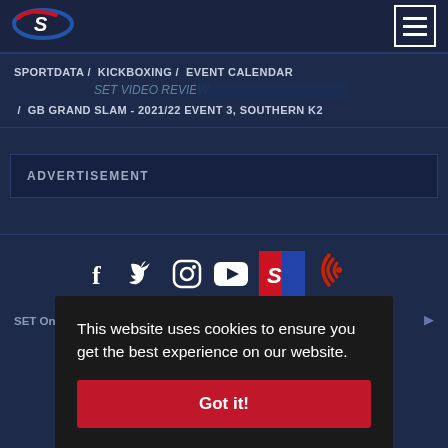[Figure (logo): Sportdata logo - stylized S with swoosh in red and blue, top left header]
[Figure (other): Hamburger menu icon - three horizontal lines in white bordered square, top right header]
SPORTDATA / KICKBOXING / EVENT CALENDAR / GB GRAND SLAM - 2021/22 EVENT 3, SOUTHERN K2
ADVERTISEMENT
[Figure (other): Social media icons: Facebook, Twitter, Instagram, YouTube, Sportdata logo tile, Sportdata radio/podcast icon]
SET O...
This website uses cookies to ensure you get the best experience on our website.
Got it!